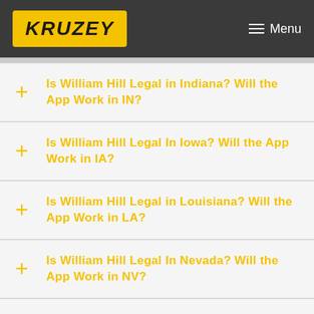KRUZEY | Menu
Is William Hill Legal in Indiana? Will the App Work in IN?
Is William Hill Legal In Iowa? Will the App Work in IA?
Is William Hill Legal in Louisiana? Will the App Work in LA?
Is William Hill Legal In Nevada? Will the App Work in NV?
Is William Hill legal In New Jersey? Will the App Work in NJ?